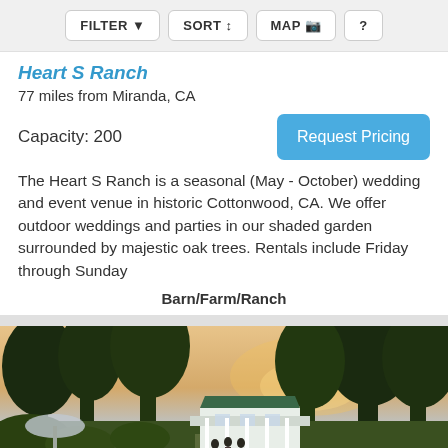FILTER   SORT   MAP   ?
Heart S Ranch
77 miles from Miranda, CA
Capacity: 200
Request Pricing
The Heart S Ranch is a seasonal (May - October) wedding and event venue in historic Cottonwood, CA. We offer outdoor weddings and parties in our shaded garden surrounded by majestic oak trees. Rentals include Friday through Sunday
Barn/Farm/Ranch
[Figure (photo): Outdoor photo of Heart S Ranch at dusk showing trees, lush garden foliage, a white house/venue building in the background, and people walking on a path.]